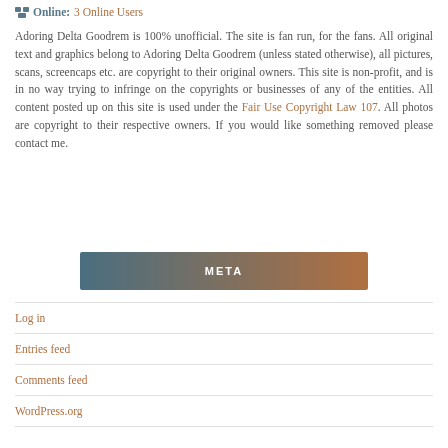Online: 3 Online Users
Adoring Delta Goodrem is 100% unofficial. The site is fan run, for the fans. All original text and graphics belong to Adoring Delta Goodrem (unless stated otherwise), all pictures, scans, screencaps etc. are copyright to their original owners. This site is non-profit, and is in no way trying to infringe on the copyrights or businesses of any of the entities. All content posted up on this site is used under the Fair Use Copyright Law 107. All photos are copyright to their respective owners. If you would like something removed please contact me.
META
Log in
Entries feed
Comments feed
WordPress.org